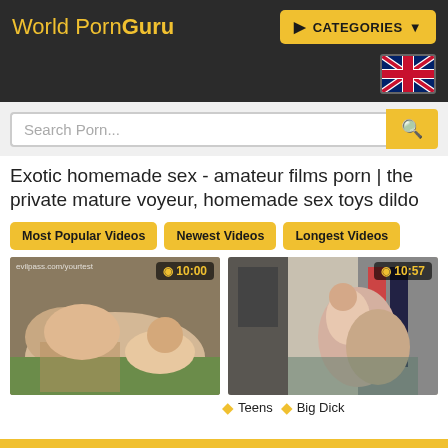World PornGuru | CATEGORIES
[Figure (screenshot): UK flag icon in dark header area]
Search Porn...
Exotic homemade sex - amateur films porn | the private mature voyeur, homemade sex toys dildo
Most Popular Videos
Newest Videos
Longest Videos
[Figure (photo): Video thumbnail showing outdoor scene, duration 10:00, watermark text visible]
[Figure (photo): Video thumbnail showing indoor bedroom scene, duration 10:57, tags: Teens, Big Dick]
Teens Big Dick